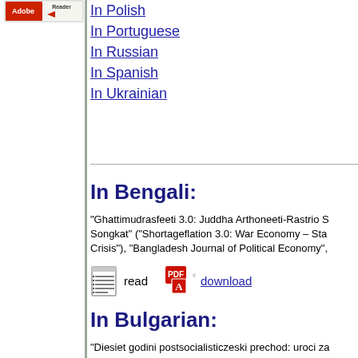[Figure (logo): Adobe Reader logo button]
In Polish
In Portuguese
In Russian
In Spanish
In Ukrainian
In Bengali:
“Ghattimudrasfeeti 3.0: Juddha Arthoneeti-Rastrio S...Songkat” (“Shortageflation 3.0: War Economy – Sta...Crisis”), “Bangladesh Journal of Political Economy”,...
[Figure (illustration): Notepad read icon and PDF download icon with links]
In Bulgarian:
"Diesiet godini postsocialisticzeski prechod: uroci za...Ikonomiczeskaja misl, 5/2000, p. 3-35